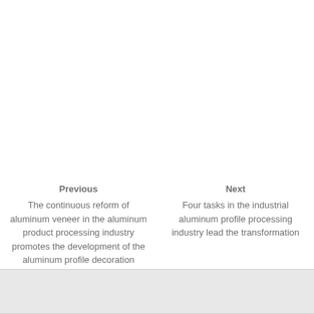Previous
The continuous reform of aluminum veneer in the aluminum product processing industry promotes the development of the aluminum profile decoration industry
Next
Four tasks in the industrial aluminum profile processing industry lead the transformation